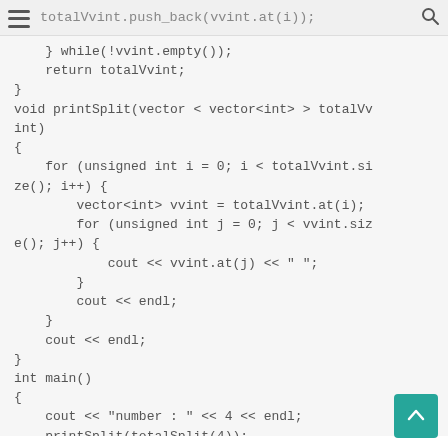e(); i++)    totalVvint.push_back(vvint.at(i));
} while(!vvint.empty());
    return totalVvint;
}
void printSplit(vector < vector<int> > totalVv
int)
{
    for (unsigned int i = 0; i < totalVvint.si
ze(); i++) {
        vector<int> vvint = totalVvint.at(i);
        for (unsigned int j = 0; j < vvint.siz
e(); j++) {
            cout << vvint.at(j) << " ";
        }
        cout << endl;
    }
    cout << endl;
}
int main()
{
    cout << "number : " << 4 << endl;
    printSplit(totalSplit(4));